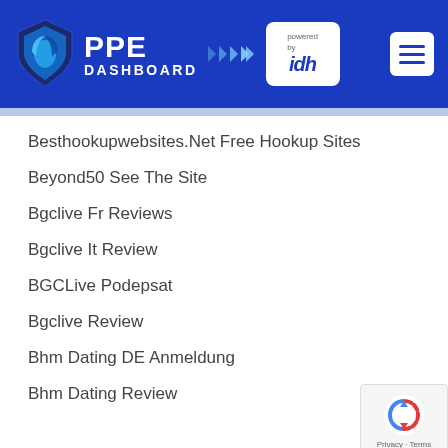PPE DASHBOARD powered by idh
Besthookupwebsites.Net Free Hookup Sites
Beyond50 See The Site
Bgclive Fr Reviews
Bgclive It Review
BGCLive Podepsat
Bgclive Review
Bhm Dating DE Anmeldung
Bhm Dating Review
[Figure (logo): reCAPTCHA privacy badge with recycling arrow icon and Privacy - Terms text]